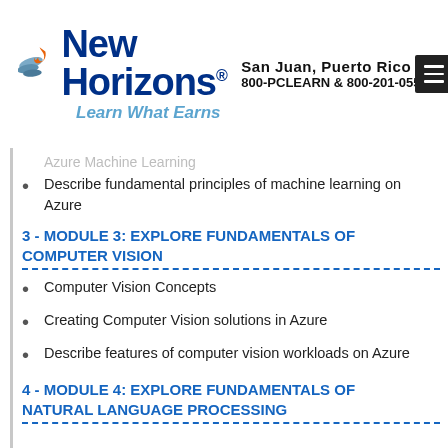[Figure (logo): New Horizons logo with bird/wing icon in orange and blue, company name 'New Horizons' in dark blue bold text with registered trademark symbol, and tagline 'Learn What Earns' in light blue italic]
San Juan, Puerto Rico
800-PCLEARN  & 800-201-0555
Azure Machine Learning
Describe fundamental principles of machine learning on Azure
3 - MODULE 3: EXPLORE FUNDAMENTALS OF COMPUTER VISION
Computer Vision Concepts
Creating Computer Vision solutions in Azure
Describe features of computer vision workloads on Azure
4 - MODULE 4: EXPLORE FUNDAMENTALS OF NATURAL LANGUAGE PROCESSING